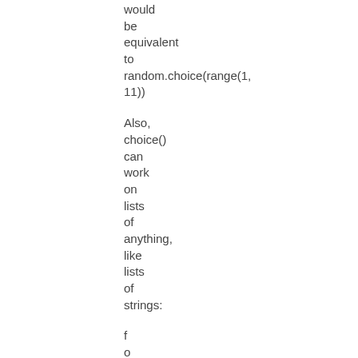would
be
equivalent
to
random.choice(range(1,
11))
Also,
choice()
can
work
on
lists
of
anything,
like
lists
of
strings:
f
o
r
c
h
o